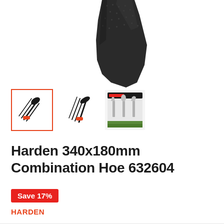[Figure (photo): Main product image: black combination hoe tool head with orange accents, partially cropped, showing the top portion of the tool on white background]
[Figure (photo): Three thumbnail images: first (selected, orange border) shows combination hoe with rake tines and hoe blade; second shows same tool from different angle; third shows a set of garden hand tools on packaging]
Harden 340x180mm Combination Hoe 632604
Save 17%
HARDEN